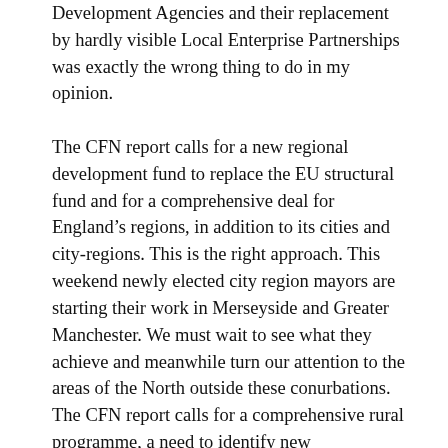Development Agencies and their replacement by hardly visible Local Enterprise Partnerships was exactly the wrong thing to do in my opinion.
The CFN report calls for a new regional development fund to replace the EU structural fund and for a comprehensive deal for England's regions, in addition to its cities and city-regions. This is the right approach. This weekend newly elected city region mayors are starting their work in Merseyside and Greater Manchester. We must wait to see what they achieve and meanwhile turn our attention to the areas of the North outside these conurbations. The CFN report calls for a comprehensive rural programme, a need to identify new development areas to accommodate a population growth of 9 million by 2040 and a drive to manage the growth of the London megaregion.